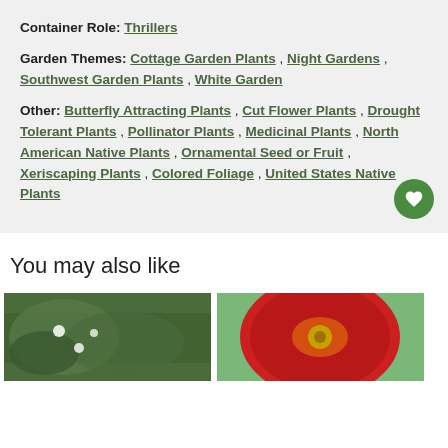Container Role: Thrillers
Garden Themes: Cottage Garden Plants , Night Gardens , Southwest Garden Plants , White Garden
Other: Butterfly Attracting Plants , Cut Flower Plants , Drought Tolerant Plants , Pollinator Plants , Medicinal Plants , North American Native Plants , Ornamental Seed or Fruit , Xeriscaping Plants , Colored Foliage , United States Native Plants
You may also like
[Figure (photo): Photo of a plant with white flowers and green leaves]
[Figure (photo): Close-up photo of a large red flower with yellow center]